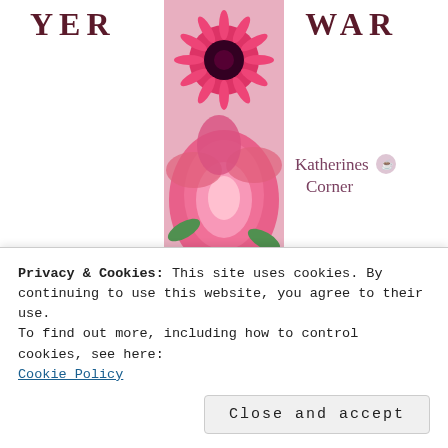[Figure (illustration): Top banner with partial text 'YER' and 'WAR' in large bold serif dark maroon letters flanking a vertical rectangular floral photograph (pink roses and gerbera daisies), with a 'Katherine's Corner' cursive script logo and decorative teapot icon to the right of the floral image.]
KatherinesCorner.com
katherines corner prayer requests
Privacy & Cookies: This site uses cookies. By continuing to use this website, you agree to their use.
To find out more, including how to control cookies, see here:
Cookie Policy
Close and accept